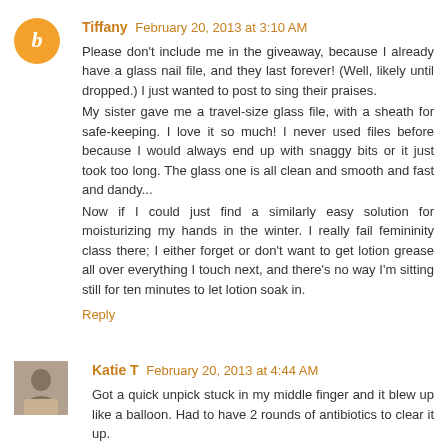[Figure (other): Orange circular avatar with letter B in italic white font]
Tiffany February 20, 2013 at 3:10 AM
Please don't include me in the giveaway, because I already have a glass nail file, and they last forever! (Well, likely until dropped.) I just wanted to post to sing their praises.
My sister gave me a travel-size glass file, with a sheath for safe-keeping. I love it so much! I never used files before because I would always end up with snaggy bits or it just took too long. The glass one is all clean and smooth and fast and dandy...
Now if I could just find a similarly easy solution for moisturizing my hands in the winter. I really fail femininity class there; I either forget or don't want to get lotion grease all over everything I touch next, and there's no way I'm sitting still for ten minutes to let lotion soak in.
Reply
[Figure (photo): Small square photo of Katie T, a person visible from chest up]
Katie T February 20, 2013 at 4:44 AM
Got a quick unpick stuck in my middle finger and it blew up like a balloon. Had to have 2 rounds of antibiotics to clear it up.